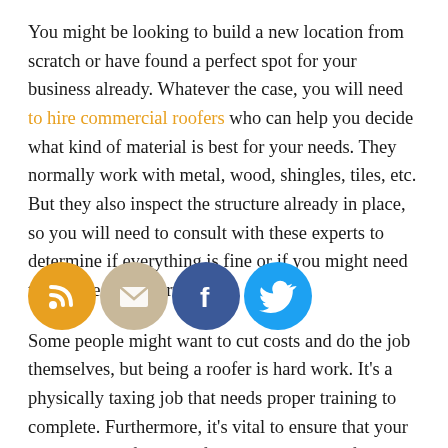You might be looking to build a new location from scratch or have found a perfect spot for your business already. Whatever the case, you will need to hire commercial roofers who can help you decide what kind of material is best for your needs. They normally work with metal, wood, shingles, tiles, etc. But they also inspect the structure already in place, so you will need to consult with these experts to determine if everything is fine or if you might need to replace some parts.
Some people might want to cut costs and do the job themselves, but being a roofer is hard work. It's a physically taxing job that needs proper training to complete. Furthermore, it's vital to ensure that your business's roof is in perfect condition, both for safety and liability reasons. Never take those things for granted because they can make or break a future business.